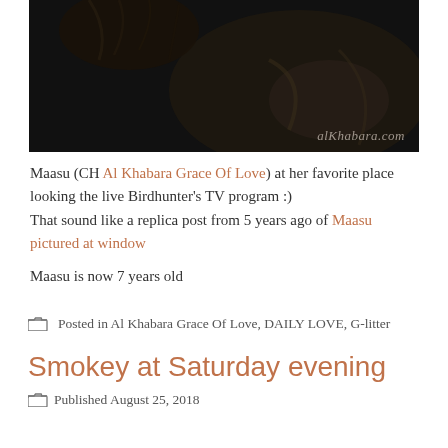[Figure (photo): Dark photo of a cat (Maasu) from behind, wearing or near dark leather, with watermark 'alKhabara.com' in bottom right]
Maasu (CH Al Khabara Grace Of Love) at her favorite place looking the live Birdhunter's TV program :)
That sound like a replica post from 5 years ago of Maasu pictured at window
Maasu is now 7 years old
Posted in Al Khabara Grace Of Love, DAILY LOVE, G-litter
Smokey at Saturday evening
Published August 25, 2018